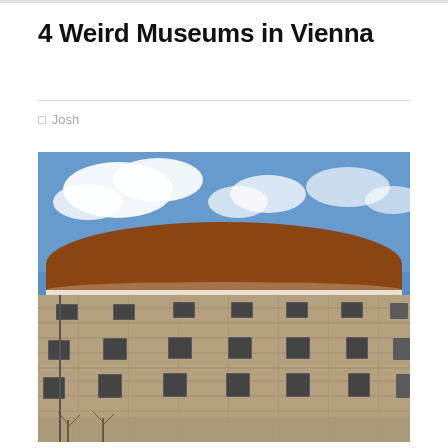4 Weird Museums in Vienna
☐  Josh
[Figure (photo): Exterior photograph of a large circular stone building with a domed red-brown roof, multiple rows of rectangular windows, against a blue sky with white clouds. Bare trees visible at the bottom.]